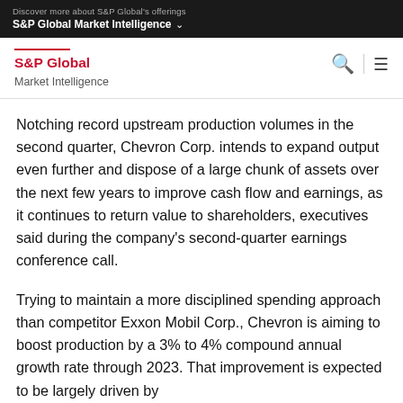Discover more about S&P Global's offerings
S&P Global Market Intelligence
S&P Global Market Intelligence
Notching record upstream production volumes in the second quarter, Chevron Corp. intends to expand output even further and dispose of a large chunk of assets over the next few years to improve cash flow and earnings, as it continues to return value to shareholders, executives said during the company's second-quarter earnings conference call.
Trying to maintain a more disciplined spending approach than competitor Exxon Mobil Corp., Chevron is aiming to boost production by a 3% to 4% compound annual growth rate through 2023. That improvement is expected to be largely driven by